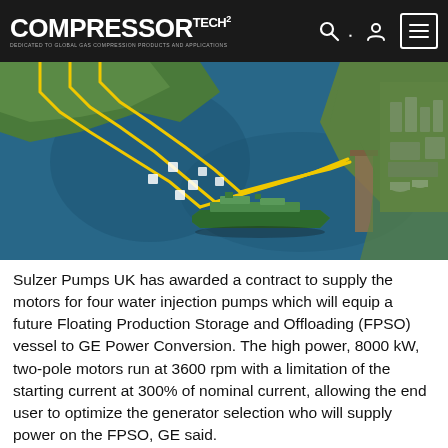COMPRESSOR TECH² — DEDICATED TO GLOBAL GAS COMPRESSION PRODUCTS AND APPLICATIONS
[Figure (photo): Aerial illustration of an FPSO (Floating Production Storage and Offloading) vessel in a coastal waterway with yellow pipeline routes shown connecting to an onshore processing facility. A green ship is visible near the center of the water. Industrial structures are visible on the right shore.]
Sulzer Pumps UK has awarded a contract to supply the motors for four water injection pumps which will equip a future Floating Production Storage and Offloading (FPSO) vessel to GE Power Conversion. The high power, 8000 kW, two-pole motors run at 3600 rpm with a limitation of the starting current at 300% of nominal current, allowing the end user to optimize the generator selection who will supply power on the FPSO, GE said.